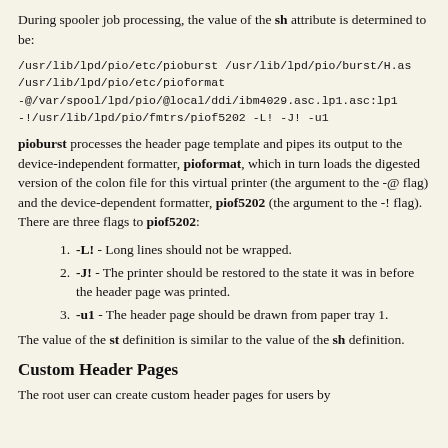During spooler job processing, the value of the sh attribute is determined to be:
/usr/lib/lpd/pio/etc/pioburst /usr/lib/lpd/pio/burst/H.as
/usr/lib/lpd/pio/etc/pioformat
-@/var/spool/lpd/pio/@local/ddi/ibm4029.asc.lp1.asc:lp1
-!/usr/lib/lpd/pio/fmtrs/piof5202 -L! -J! -u1
pioburst processes the header page template and pipes its output to the device-independent formatter, pioformat, which in turn loads the digested version of the colon file for this virtual printer (the argument to the -@ flag) and the device-dependent formatter, piof5202 (the argument to the -! flag). There are three flags to piof5202:
-L! - Long lines should not be wrapped.
-J! - The printer should be restored to the state it was in before the header page was printed.
-u1 - The header page should be drawn from paper tray 1.
The value of the st definition is similar to the value of the sh definition.
Custom Header Pages
The root user can create custom header pages for users by